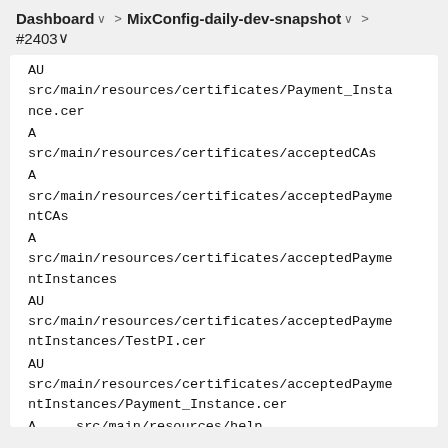Dashboard > MixConfig-daily-dev-snapshot > #2403
AU
src/main/resources/certificates/Payment_Instance.cer
A
src/main/resources/certificates/acceptedCAs
A
src/main/resources/certificates/acceptedPaymentCAs
A
src/main/resources/certificates/acceptedPaymentInstances
AU
src/main/resources/certificates/acceptedPaymentInstances/TestPI.cer
AU
src/main/resources/certificates/acceptedPaymentInstances/Payment_Instance.cer
A
src/main/resources/help